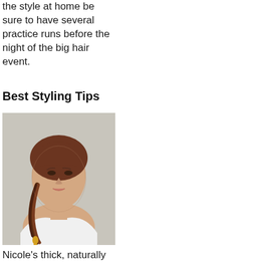the style at home be sure to have several practice runs before the night of the big hair event.
Best Styling Tips
[Figure (photo): A young woman with auburn hair pulled back into a long side braid, wearing a white top, photographed against a light grey background from a three-quarter rear angle.]
Nicole's thick, naturally